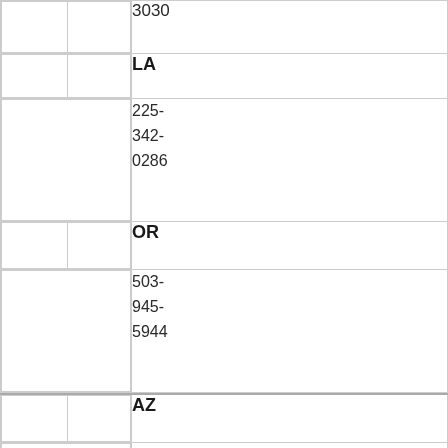3030
LA
225-342-0286
OR
503-945-5944
AZ
602-542-9935
MA